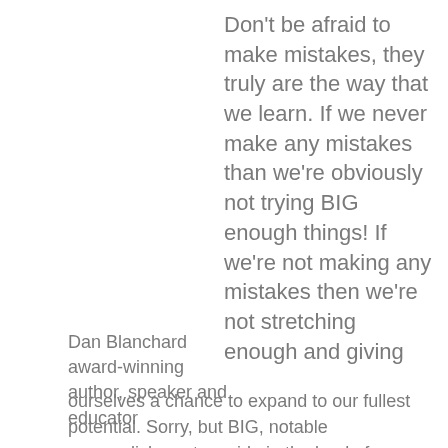Don't be afraid to make mistakes, they truly are the way that we learn. If we never make any mistakes than we're obviously not trying BIG enough things! If we're not making any mistakes then we're not stretching enough and giving ourselves a chance to expand to our fullest potential. Sorry, but BIG, notable accomplishments reside in the land of mistakes. You only make it BIG in this world if you're brave
Dan Blanchard award-winning author, speaker and educator